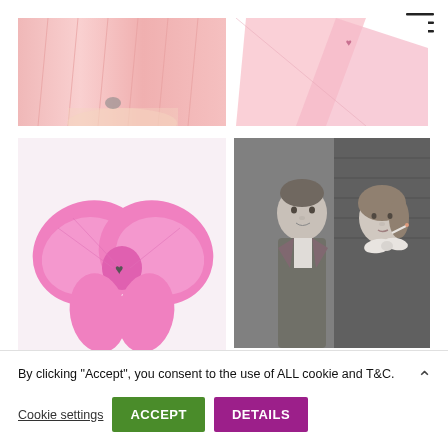[Figure (photo): Hamburger menu icon (three horizontal lines) in top right corner]
[Figure (photo): Top-left image: close-up of pink pleated fabric or garment]
[Figure (photo): Top-right image: pink triangular fabric piece with small heart detail]
[Figure (photo): Bottom-left image: pink fabric bow with heart-shaped rhinestone brooch center, and white bow partially visible below]
[Figure (photo): Bottom-right image: black and white film still of a man and woman, woman appears to be smoking]
By clicking “Accept”, you consent to the use of ALL cookie and T&C.
Cookie settings
ACCEPT
DETAILS